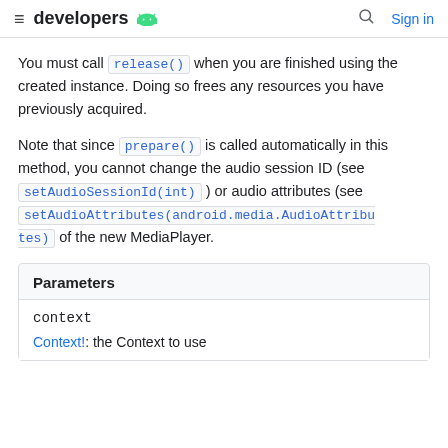developers [Android logo] [search icon] Sign in
You must call release() when you are finished using the created instance. Doing so frees any resources you have previously acquired.
Note that since prepare() is called automatically in this method, you cannot change the audio session ID (see setAudioSessionId(int) ) or audio attributes (see setAudioAttributes(android.media.AudioAttributes) of the new MediaPlayer.
| Parameters |
| --- |
| context | Context!: the Context to use |